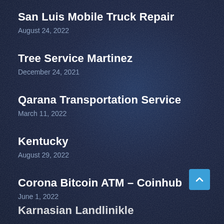San Luis Mobile Truck Repair
August 24, 2022
Tree Service Martinez
December 24, 2021
Qarana Transportation Service
March 11, 2022
Kentucky
August 29, 2022
Corona Bitcoin ATM – Coinhub
June 1, 2022
Karnasian Landlinikle (partial)